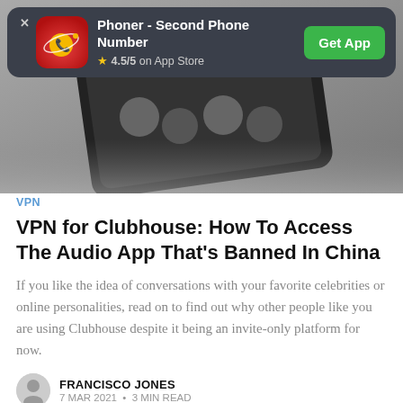[Figure (photo): Smartphone with Clubhouse app visible, dark hero image]
[Figure (infographic): Ad banner: Phoner - Second Phone Number app, 4.5/5 on App Store, Get App button]
VPN
VPN for Clubhouse: How To Access The Audio App That's Banned In China
If you like the idea of conversations with your favorite celebrities or online personalities, read on to find out why other people like you are using Clubhouse despite it being an invite-only platform for now.
FRANCISCO JONES
7 MAR 2021 • 3 MIN READ